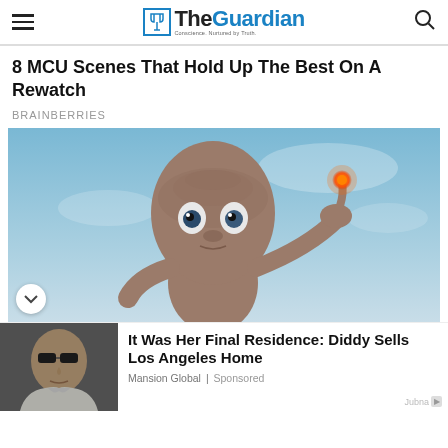The Guardian
8 MCU Scenes That Hold Up The Best On A Rewatch
BRAINBERRIES
[Figure (photo): E.T. the Extra-Terrestrial character with glowing fingertip raised, against a blue sky background]
[Figure (photo): Portrait of a man in sunglasses and white jacket]
It Was Her Final Residence: Diddy Sells Los Angeles Home
Mansion Global | Sponsored